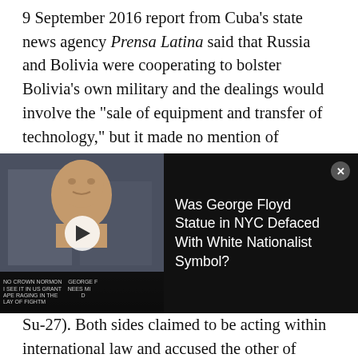9 September 2016 report from Cuba's state news agency Prensa Latina said that Russia and Bolivia were cooperating to bolster Bolivia's own military and the dealings would involve the "sale of equipment and transfer of technology," but it made no mention of hundreds of Russian troops landing in Bolivia.
The claimed acts of Russian military expansion were alleged to be in retaliation for a 7 Su-27). Both sides claimed to be acting within international law and accused the other of
[Figure (screenshot): Video overlay widget showing a George Floyd statue image on the left thumbnail with a play button, and text on the right reading 'Was George Floyd Statue in NYC Defaced With White Nationalist Symbol?' with a close button.]